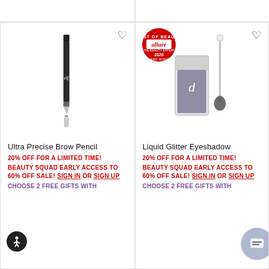[Figure (photo): Top strip placeholder area, two empty white card sections]
[Figure (photo): e.l.f. Ultra Precise Brow Pencil product image - a thin black pencil with cap and spoolie brush end]
Ultra Precise Brow Pencil
20% OFF FOR A LIMITED TIME!
BEAUTY SQUAD EARLY ACCESS TO 60% OFF SALE! SIGN IN OR SIGN UP
CHOOSE 2 FREE GIFTS WITH
[Figure (photo): e.l.f. Liquid Glitter Eyeshadow product image - small glitter eyeshadow jar and applicator wand, with Allure Best of Beauty 2020 Award Winner badge]
Liquid Glitter Eyeshadow
20% OFF FOR A LIMITED TIME!
BEAUTY SQUAD EARLY ACCESS TO 60% OFF SALE! SIGN IN OR SIGN UP
CHOOSE 2 FREE GIFTS WITH